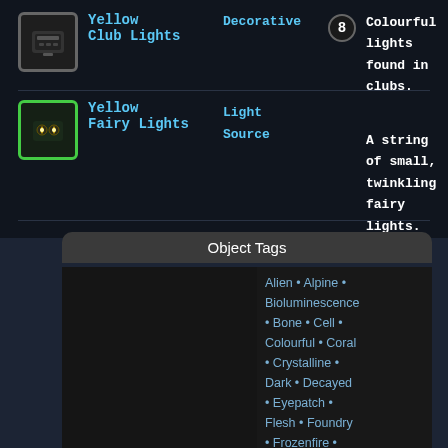[Figure (screenshot): Game UI screenshot showing item database rows and object tags panel for a game (likely Starbound). Top half shows two item rows: Club Lights (Yellow, Decorative, cost 8) and Fairy Lights (Yellow, Light Source). Bottom half shows Object Tags panel with alphabetical tag list.]
Yellow Club Lights
Decorative
8
Colourful lights found in clubs.
Yellow Fairy Lights
Light Source
A string of small, twinkling fairy lights.
Object Tags
Alien • Alpine • Bioluminescence • Bone • Cell • Colourful • Coral • Crystalline • Dark • Decayed • Eyepatch • Flesh • Foundry • Frozenfire • Geode • Giant Flower • Gnome